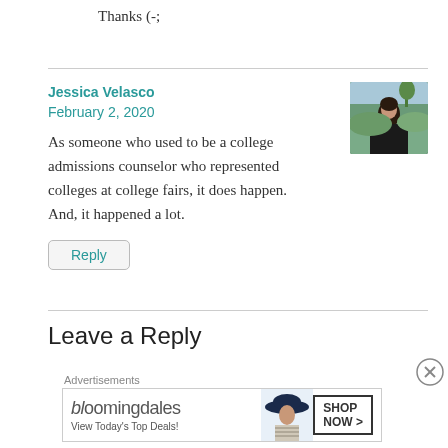Thanks (-;
Jessica Velasco
February 2, 2020
As someone who used to be a college admissions counselor who represented colleges at college fairs, it does happen. And, it happened a lot.
Reply
Leave a Reply
Advertisements
[Figure (other): Bloomingdale's advertisement banner with woman in hat and Shop Now button]